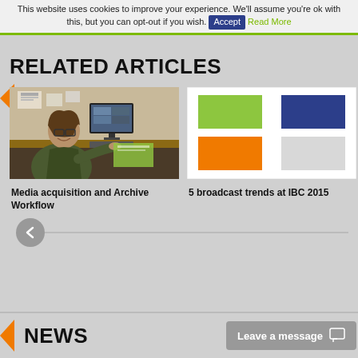This website uses cookies to improve your experience. We'll assume you're ok with this, but you can opt-out if you wish. Accept Read More
RELATED ARTICLES
[Figure (photo): Person with long hair and glasses sitting at a computer workstation with multiple monitors]
Media acquisition and Archive Workflow
[Figure (illustration): Color grid with four colored squares: green (top-left), navy/dark blue (top-right), orange (bottom-left), light gray (bottom-right)]
5 broadcast trends at IBC 2015
NEWS
Leave a message